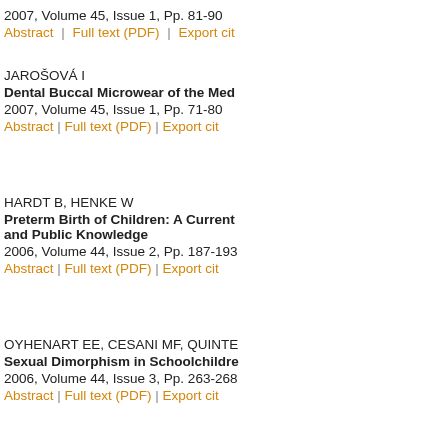2007, Volume 45, Issue 1, Pp. 81-90
Abstract | Full text (PDF) | Export cit...
JAROŠOVÁ I
Dental Buccal Microwear of the Med...
2007, Volume 45, Issue 1, Pp. 71-80
Abstract | Full text (PDF) | Export cit...
HARDT B, HENKE W
Preterm Birth of Children: A Current... and Public Knowledge
2006, Volume 44, Issue 2, Pp. 187-193
Abstract | Full text (PDF) | Export cit...
OYHENART EE, CESANI MF, QUINTE...
Sexual Dimorphism in Schoolchildre...
2006, Volume 44, Issue 3, Pp. 263-268
Abstract | Full text (PDF) | Export cit...